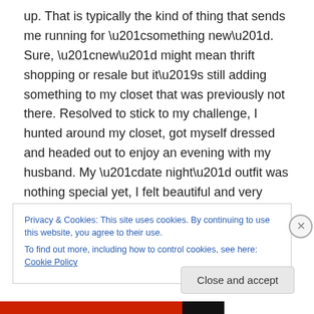up.  That is typically the kind of thing that sends me running for “something new”.  Sure, “new” might mean thrift shopping or resale but it’s still adding something to my closet that was previously not there.  Resolved to stick to my challenge, I hunted around my closet, got myself dressed and headed out to enjoy an evening with my husband.  My “date night” outfit was nothing special yet, I felt beautiful and very myself: black jeans, white t-shirt, black blazer, and shoes, that are older than my first born child.
Privacy & Cookies: This site uses cookies. By continuing to use this website, you agree to their use.
To find out more, including how to control cookies, see here: Cookie Policy